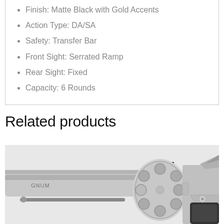Finish: Matte Black with Gold Accents
Action Type: DA/SA
Safety: Transfer Bar
Front Sight: Serrated Ramp
Rear Sight: Fixed
Capacity: 6 Rounds
Related products
[Figure (photo): Close-up photo of a stainless steel revolver showing the cylinder, barrel with ejector rod, and partial frame with GNUM text visible on the barrel. The revolver has a polished chrome/stainless finish.]